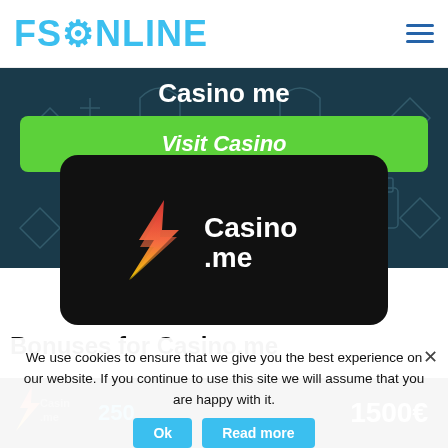FSONLINE
Casino me
Visit Casino
[Figure (logo): Casino.me logo — stylized lightning bolt in red/orange gradient on black rounded rectangle background with white text 'Casino .me']
Bonuses for Casino.me
We use cookies to ensure that we give you the best experience on our website. If you continue to use this site we will assume that you are happy with it.
[Figure (logo): Casino.me logo small in dark card with text '250' and '1500€']